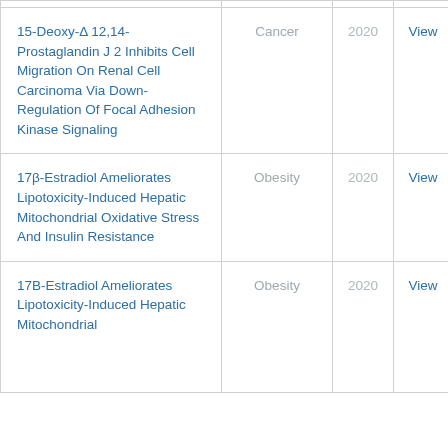| Title | Category | Year |  |
| --- | --- | --- | --- |
| 15-Deoxy-Δ 12,14-Prostaglandin J 2 Inhibits Cell Migration On Renal Cell Carcinoma Via Down-Regulation Of Focal Adhesion Kinase Signaling | Cancer | 2020 | View |
| 17β-Estradiol Ameliorates Lipotoxicity-Induced Hepatic Mitochondrial Oxidative Stress And Insulin Resistance | Obesity | 2020 | View |
| 17B-Estradiol Ameliorates Lipotoxicity-Induced Hepatic Mitochondrial | Obesity | 2020 | View |